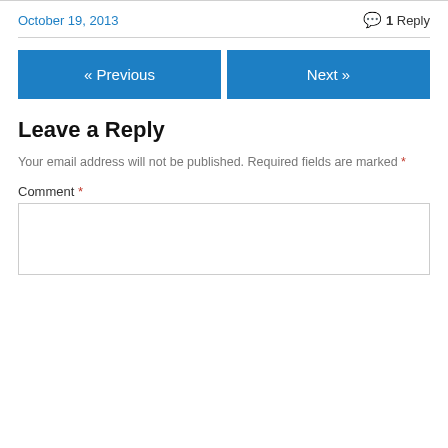October 19, 2013
1 Reply
« Previous
Next »
Leave a Reply
Your email address will not be published. Required fields are marked *
Comment *